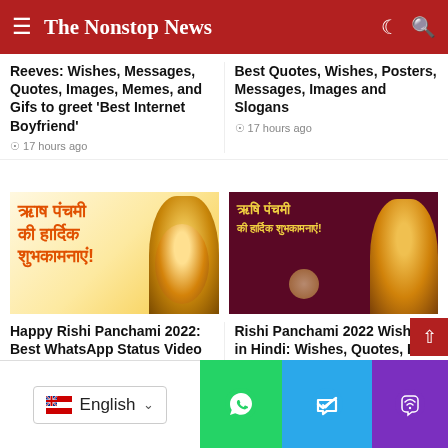The Nonstop News
Reeves: Wishes, Messages, Quotes, Images, Memes, and Gifs to greet 'Best Internet Boyfriend'
17 hours ago
Best Quotes, Wishes, Posters, Messages, Images and Slogans
17 hours ago
[Figure (illustration): Rishi Panchami greeting image with Hindi text and golden sage figure on light background]
[Figure (illustration): Rishi Panchami greeting image with Hindi text and sage figure on dark maroon background]
Happy Rishi Panchami 2022: Best WhatsApp Status Video To Download For Free
1 day ago
Rishi Panchami 2022 Wishes in Hindi: Wishes, Quotes, HD Images, Messages, and Greetings
1 day ago
[Figure (illustration): Partially visible image at bottom left with HAPPY text]
[Figure (illustration): Partially visible colorful image at bottom right]
English